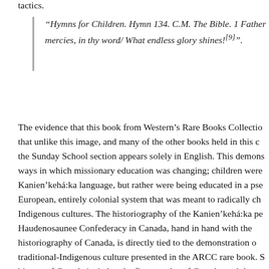tactics.
“Hymns for Children. Hymn 134. C.M. The Bible. 1 Father mercies, in thy word/ What endless glory shines![9]”.
The evidence that this book from Western’s Rare Books Collection that unlike this image, and many of the other books held in this c the Sunday School section appears solely in English. This demons ways in which missionary education was changing; children were Kanien’kehá:ka language, but rather were being educated in a pse European, entirely colonial system that was meant to radically ch Indigenous cultures. The historiography of the Kanien’kehá:ka pe Haudenosaunee Confederacy in Canada, hand in hand with the historiography of Canada, is directly tied to the demonstration of traditional-Indigenous culture presented in the ARCC rare book. S history of Canada is tied to the first peoples of Canada, and the nations originated in Canada, their histories and succeeding histo are intertwined. The books in the Rare Book Collections connect respective historiographies, as they demonstrate both the first p Canada and the treatment they received, while showing the dec